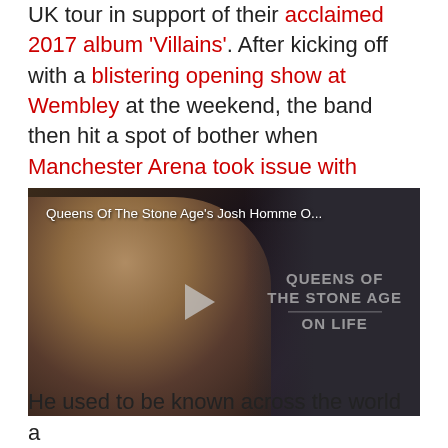UK tour in support of their acclaimed 2017 album 'Villains'. After kicking off with a blistering opening show at Wembley at the weekend, the band then hit a spot of bother when Manchester Arena took issue with Homme smoking while on stage.
[Figure (screenshot): Video thumbnail showing Queens Of The Stone Age's Josh Homme interview. A man with short reddish-blond hair and a black jacket smiles. White text overlay reads 'Queens Of The Stone Age's Josh Homme O...' and right side shows 'QUEENS OF THE STONE AGE ON LIFE' with a play button in the center.]
He used to be known across the world...